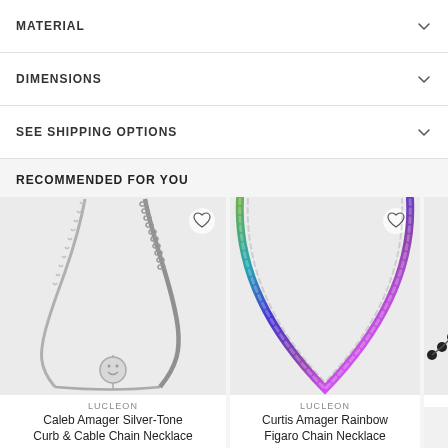MATERIAL
DIMENSIONS
SEE SHIPPING OPTIONS
RECOMMENDED FOR YOU
[Figure (photo): Silver-tone curb and cable chain necklace with smiley face pendant on light gray background]
LUCLEON
Caleb Amager Silver-Tone Curb & Cable Chain Necklace
[Figure (photo): Rainbow Figaro chain necklace on light gray background]
LUCLEON
Curtis Amager Rainbow Figaro Chain Necklace
[Figure (photo): Partial view of a black beaded necklace on light gray background]